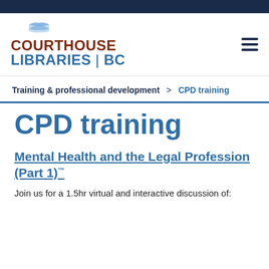Courthouse Libraries BC
Training & professional development > CPD training
CPD training
Mental Health and the Legal Profession (Part 1)
Join us for a 1.5hr virtual and interactive discussion of: